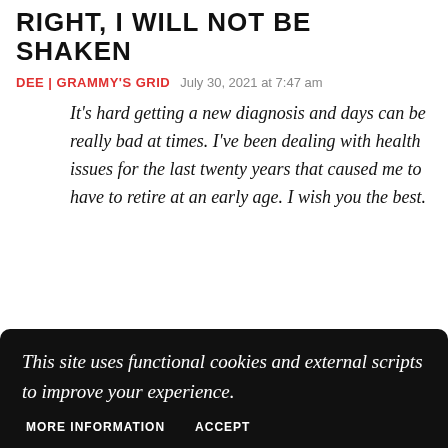RIGHT, I WILL NOT BE SHAKEN
DEE | GRAMMY'S GRID   July 30, 2021 at 7:47 am
It's hard getting a new diagnosis and days can be really bad at times. I've been dealing with health issues for the last twenty years that caused me to have to retire at an early age. I wish you the best.
This site uses functional cookies and external scripts to improve your experience.
MORE INFORMATION   ACCEPT